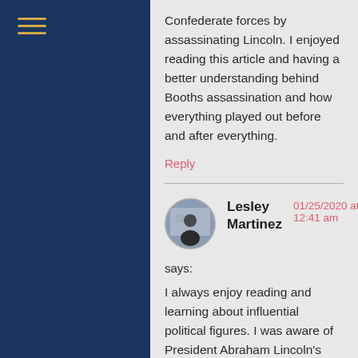Confederate forces by assassinating Lincoln. I enjoyed reading this article and having a better understanding behind Booths assassination and how everything played out before and after everything.
Reply
Lesley Martinez says:
01/25/2020 at 12:41 am
I always enjoy reading and learning about influential political figures. I was aware of President Abraham Lincoln's assassination in a theatre, but I did not know that John Booth had attempted to kidnap Lincoln